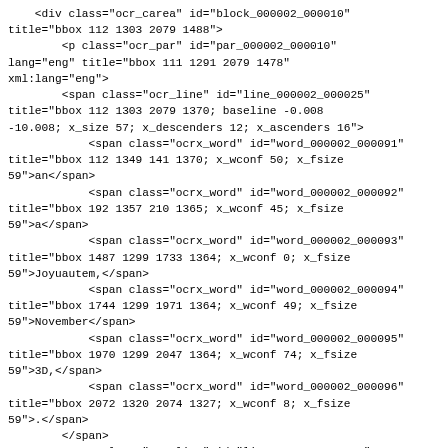<div class="ocr_carea" id="block_000002_000010"
title="bbox 112 1303 2079 1488">
        <p class="ocr_par" id="par_000002_000010"
lang="eng" title="bbox 111 1291 2079 1478"
xml:lang="eng">
        <span class="ocr_line" id="line_000002_000025"
title="bbox 112 1303 2079 1370; baseline -0.008
-10.008; x_size 57; x_descenders 12; x_ascenders 16">
            <span class="ocrx_word" id="word_000002_000091"
title="bbox 112 1349 141 1370; x_wconf 50; x_fsize
59">an</span>
            <span class="ocrx_word" id="word_000002_000092"
title="bbox 192 1357 210 1365; x_wconf 45; x_fsize
59">a</span>
            <span class="ocrx_word" id="word_000002_000093"
title="bbox 1487 1299 1733 1364; x_wconf 0; x_fsize
59">Joyuautem,</span>
            <span class="ocrx_word" id="word_000002_000094"
title="bbox 1744 1299 1971 1364; x_wconf 49; x_fsize
59">November</span>
            <span class="ocrx_word" id="word_000002_000095"
title="bbox 1970 1299 2047 1364; x_wconf 74; x_fsize
59">3D,</span>
            <span class="ocrx_word" id="word_000002_000096"
title="bbox 2072 1320 2074 1327; x_wconf 8; x_fsize
59">.</span>
        </span>
        <span class="ocr_line" id="line_000002_000026"
title="bbox 164 1303 2074 1430; baseline -0.006 -19;
x_size 68; x_descenders 12; x_ascenders 16">